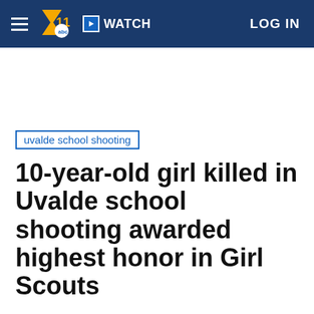WATCH   LOG IN
uvalde school shooting
10-year-old girl killed in Uvalde school shooting awarded highest honor in Girl Scouts
Wednesday, June 1, 2022